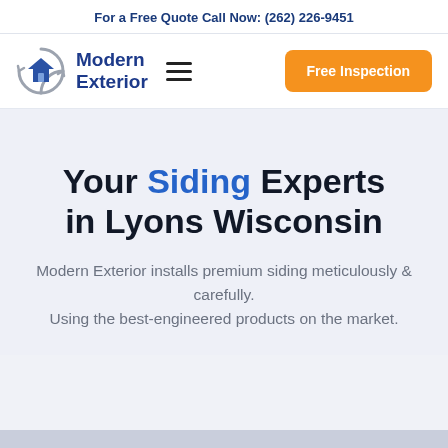For a Free Quote Call Now: (262) 226-9451
[Figure (logo): Modern Exterior logo: circular gray arrow icon with a house outline, next to bold navy text 'Modern Exterior', hamburger menu icon, and orange 'Free Inspection' button]
Your Siding Experts in Lyons Wisconsin
Modern Exterior installs premium siding meticulously & carefully.
Using the best-engineered products on the market.